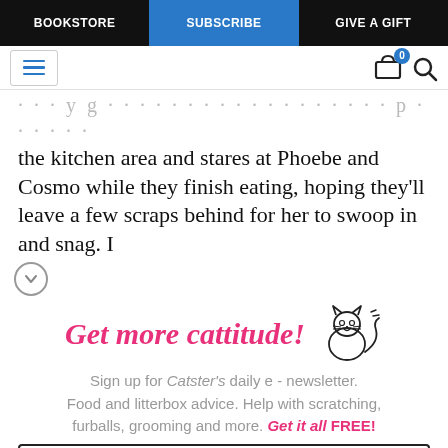BOOKSTORE | SUBSCRIBE | GIVE A GIFT
the kitchen area and stares at Phoebe and Cosmo while they finish eating, hoping they'll leave a few scraps behind for her to swoop in and snag. I
[Figure (illustration): Cartoon line-drawing of a happy cat with whiskers and tail]
Get more cattitude!
Sign up for Catster's daily e - newsletter. Food and litterbox advice. Help with scratching, furballs, grooming and more. Get it all FREE!
Enter your Email
YES! SIGN ME UP